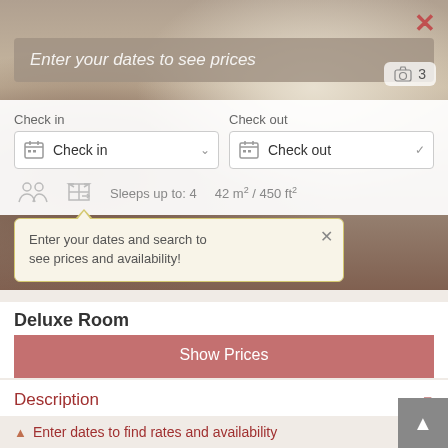[Figure (photo): Hotel room photo showing double beds with white linens, teal headboard, and curtains in background]
Enter your dates to see prices
Check in
Check out
[Figure (other): Camera icon with number 3]
Check in
Check out
Sleeps up to: 4     42 m² / 450 ft²
Enter your dates and search to see prices and availability!
Deluxe Room
Show Prices
✓ Free Wifi
Description
Amenities
▲ Enter dates to find rates and availability